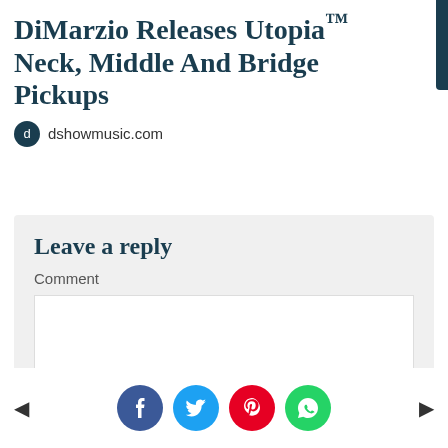DiMarzio Releases Utopia™ Neck, Middle And Bridge Pickups
dshowmusic.com
Leave a reply
Comment